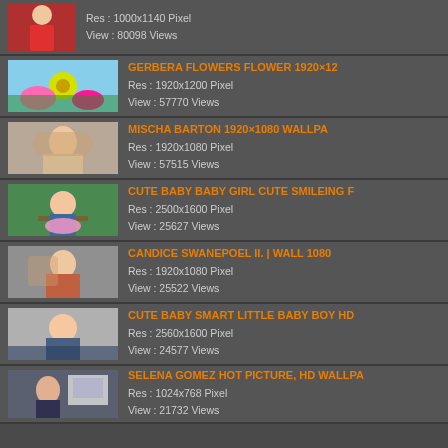Res : 1000x1140 Pixel
View : 80098 Views
GERBERA FLOWERS FLOWER 1920×12
Res : 1920x1200 Pixel
View : 57770 Views
MISCHA BARTON 1920×1080 WALLPA
Res : 1920x1080 Pixel
View : 57515 Views
CUTE BABY BABY GIRL CUTE SMILEING F
Res : 2500x1600 Pixel
View : 25627 Views
CANDICE SWANEPOEL II. | WALL 1080
Res : 1920x1080 Pixel
View : 25522 Views
CUTE BABY SMART LITTLE BABY BOY HD
Res : 2560x1600 Pixel
View : 24577 Views
SELENA GOMEZ HOT PICTURE, HD WALLPA
Res : 1024x768 Pixel
View : 21732 Views